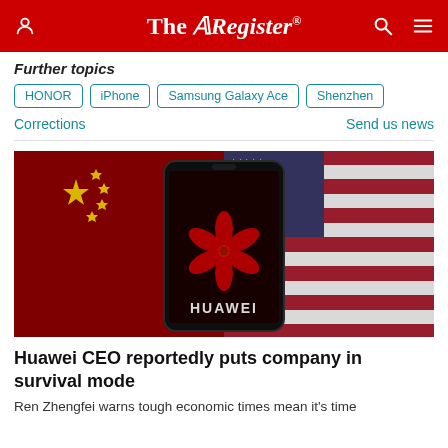The Register
Further topics
HONOR
iPhone
Samsung Galaxy Ace
Shenzhen
Corrections
Send us news
[Figure (photo): Huawei logo on a smartphone screen set against the Chinese and American flags in the background]
Huawei CEO reportedly puts company in survival mode
Ren Zhengfei warns tough economic times mean it's time